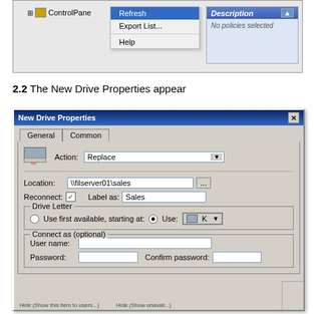[Figure (screenshot): Windows context menu with options: Refresh, Export List..., Help. Partial tree view showing ControlPanel node. Description panel showing 'No policies selected'.]
2.2 The New Drive Properties appear
[Figure (screenshot): New Drive Properties dialog box with General and Common tabs. Fields: Action (Replace dropdown), Location (\\filserver01\sales), Reconnect checkbox (checked), Label as (Sales), Drive Letter group with radio buttons and K drive dropdown, Connect as (optional) group with User name and Password fields, Confirm password field.]